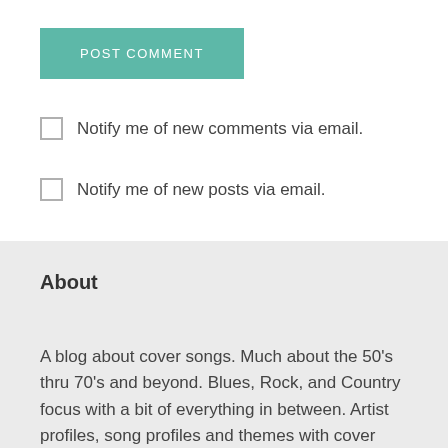POST COMMENT
Notify me of new comments via email.
Notify me of new posts via email.
About
A blog about cover songs. Much about the 50's thru 70's and beyond. Blues, Rock, and Country focus with a bit of everything in between. Artist profiles, song profiles and themes with cover songs being the central focus. Still free with no advertisements! Recently migrated to WordPress